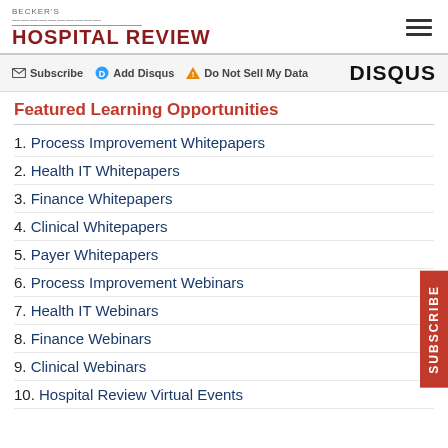BECKER'S HOSPITAL REVIEW
Subscribe  Add Disqus  Do Not Sell My Data  DISQUS
Featured Learning Opportunities
1. Process Improvement Whitepapers
2. Health IT Whitepapers
3. Finance Whitepapers
4. Clinical Whitepapers
5. Payer Whitepapers
6. Process Improvement Webinars
7. Health IT Webinars
8. Finance Webinars
9. Clinical Webinars
10. Hospital Review Virtual Events